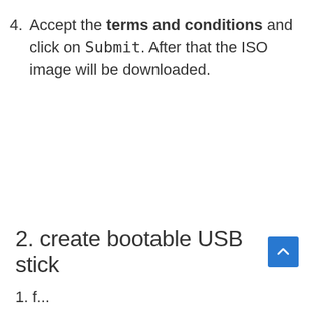4. Accept the terms and conditions and click on Submit. After that the ISO image will be downloaded.
2. create bootable USB stick
1. f...